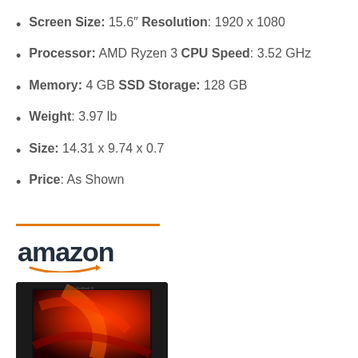Screen Size: 15.6" Resolution: 1920 x 1080
Processor: AMD Ryzen 3 CPU Speed: 3.52 GHz
Memory: 4 GB SSD Storage: 128 GB
Weight: 3.97 lb
Size: 14.31 x 9.74 x 0.7
Price: As Shown
[Figure (logo): Amazon logo with orange smile arrow beneath]
[Figure (photo): ASUS VivoBook 15 laptop with red and black display on dark background]
ASUS VivoBook 15 Thin and...